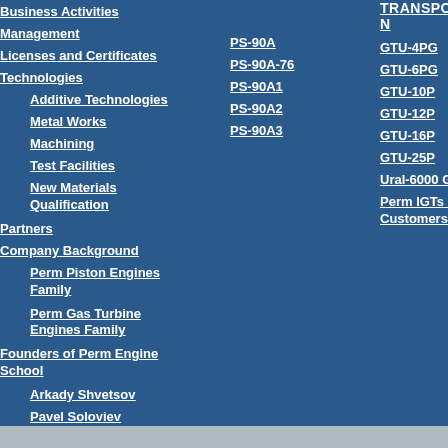Business Activities
Management
Licenses and Certificates
Technologies
Additive Technologies
Metal Works
Machining
Test Facilities
New Materials Qualification
Partners
Company Background
Perm Piston Engines Family
Perm Gas Turbine Engines Family
Founders of Perm Engine School
Arkady Shvetsov
Pavel Soloviev
PS-90A
PS-90A-76
PS-90A1
PS-90A2
PS-90A3
TRANSPORTATION
GTU-4PG
GTU-6PG
GTU-10P
GTU-12P
GTU-16P
GTU-25P
Ural-6000 GT Pum...
Perm IGTs at the Customers' Sites